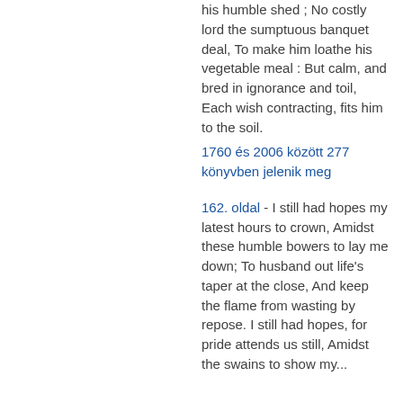his humble shed ; No costly lord the sumptuous banquet deal, To make him loathe his vegetable meal : But calm, and bred in ignorance and toil, Each wish contracting, fits him to the soil.
1760 és 2006 között 277 könyvben jelenik meg
162. oldal - I still had hopes my latest hours to crown, Amidst these humble bowers to lay me down; To husband out life's taper at the close, And keep the flame from wasting by repose. I still had hopes, for pride attends us still, Amidst the swains to show my...